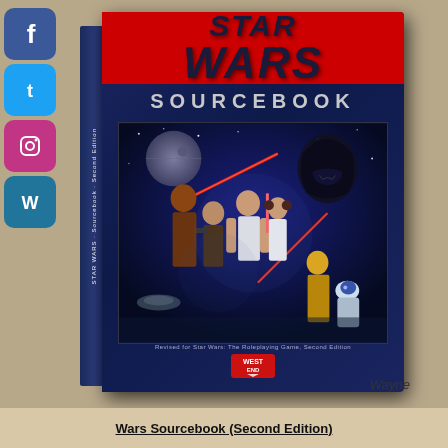[Figure (photo): Social media icons on left side: Facebook (blue), Twitter (blue bird), Instagram (camera), WordPress (blue W)]
[Figure (photo): Photograph of Star Wars Sourcebook hardcover book. Navy blue cover with red banner at top showing 'STAR WARS' title in large italic letters, 'SOURCEBOOK' subtitle below in silver letters, classic Star Wars movie poster artwork on cover featuring Luke Skywalker, Princess Leia, Han Solo, Darth Vader, C-3PO, R2-D2 and other characters. Book spine visible on left. Publisher logo at bottom. 'Wayne' text in lower right of photo.]
Wars Sourcebook (Second Edition)